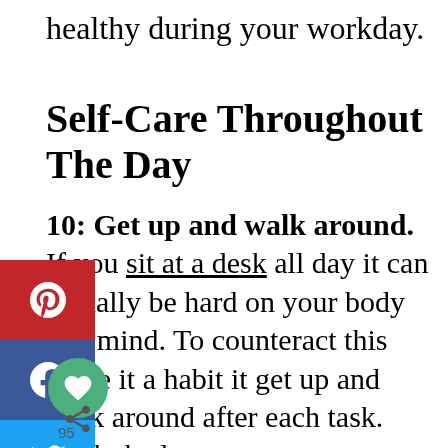healthy during your workday.
Self-Care Throughout The Day
10: Get up and walk around. If you sit at a desk all day it can actually be hard on your body and mind. To counteract this make it a habit it get up and walk around after each task. Walk the long way to get your coffee, go look out a window, walk over to your coworker and tell them what you need to tell them instead of texting or e-mailing it.
There are other great ways to get more movement in your workday are to try out a